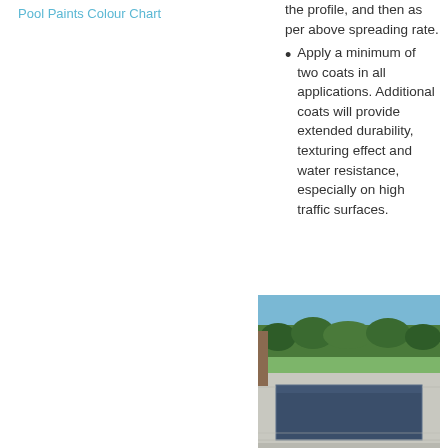Pool Paints Colour Chart
the profile, and then as per above spreading rate.
Apply a minimum of two coats in all applications. Additional coats will provide extended durability, texturing effect and water resistance, especially on high traffic surfaces.
[Figure (photo): Outdoor rectangular swimming pool with grey coping surround, trees and blue sky in background.]